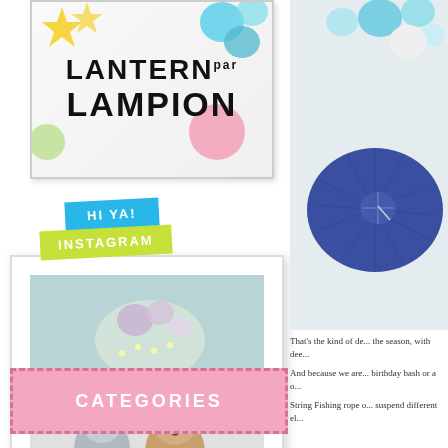[Figure (logo): Lantern & Lampion logo with colorful paper lanterns in background. Bold black text reads LANTERN and LAMPION.]
[Figure (photo): Instagram photo in polaroid-style frame showing stuffed animals (koala and teddy bear) against a teal wall with paper lanterns and fairy lights. Badges reading HI YA! and INSTAGRAM overlay the top of the frame.]
CATEGORIES
[Figure (photo): Close-up photo of colorful paper lanterns including teal, white, and a large blue/navy lantern against a light background.]
That's the kind of de... the season, with dee...
And because we are... birthday bash or a o...
String Fishing rope o... suspend different el...